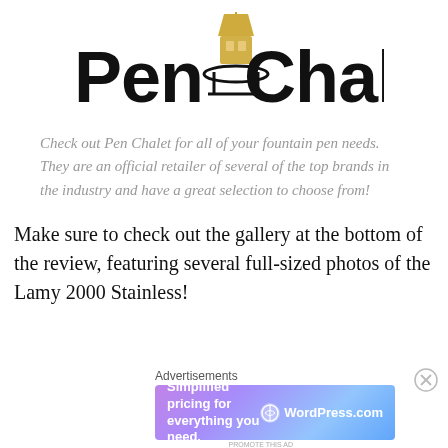[Figure (logo): Pen Chalet logo with pen/lamp illustration and stylized text]
Check out Pen Chalet for all of your fountain pen needs. They are an official retailer of several of the top brands in the industry and have a great selection to choose from!
Make sure to check out the gallery at the bottom of the review, featuring several full-sized photos of the Lamy 2000 Stainless!
Advertisements
[Figure (screenshot): WordPress.com advertisement banner: Simplified pricing for everything you need.]